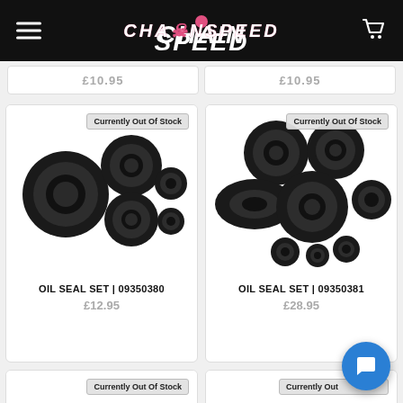CHAINSPEED — navigation header with menu and cart
£10.95 / £10.95 (partially visible price bar)
[Figure (photo): Product photo of OIL SEAL SET 09350380 — 5 black rubber oil seals of different sizes on white background, with Currently Out Of Stock badge]
OIL SEAL SET | 09350380
£12.95
[Figure (photo): Product photo of OIL SEAL SET 09350381 — 9 black rubber oil seals of various sizes on white background, with Currently Out Of Stock badge]
OIL SEAL SET | 09350381
£28.95
[Figure (photo): Partially visible product photo at bottom-left — black rubber seals with Currently Out Of Stock badge]
[Figure (photo): Partially visible product photo at bottom-right — black rubber seals with Currently Out Of Stock badge (partially covered by chat button)]